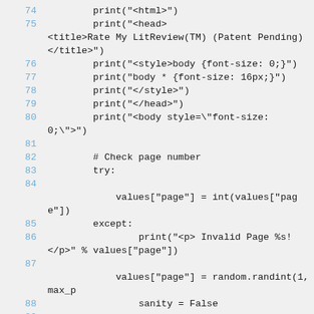Code listing lines 74-91, Python source code showing HTML generation with print statements, page number checking logic, and form output.